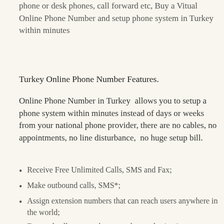phone or desk phones, call forward etc, Buy a Vitual Online Phone Number and setup phone system in Turkey within minutes
Turkey Online Phone Number Features.
Online Phone Number in Turkey  allows you to setup a phone system within minutes instead of days or weeks from your national phone provider, there are no cables, no appointments, no line disturbance,  no huge setup bill.
Receive Free Unlimited Calls, SMS and Fax;
Make outbound calls, SMS*;
Assign extension numbers that can reach users anywhere in the world;
Forward calls to any phone number or destination;
Play back custom recorded messages to callers;
Direct calls using extension numbers;